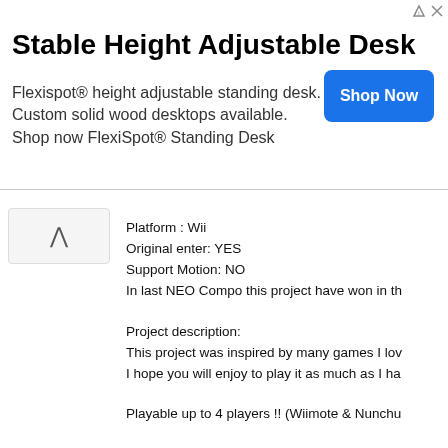[Figure (screenshot): Advertisement banner for Stable Height Adjustable Desk by Flexispot with a 'Shop Now' button]
Platform : Wii
Original enter: YES
Support Motion: NO
In last NEO Compo this project have won in th...
Project description:
This project was inspired by many games I lov...
I hope you will enjoy to play it as much as I ha...
Playable up to 4 players !! (Wiimote & Nunchu...
Gameplay :
Your goal is to access the end of the level. On...
Along the way, you will be blocked by colored c...
Alien infections will generate alien viruses that...
CAUTION ! In the second level, there will be o...
If you weren't able to take it to the celldoor, yo...
Background :
In year 20XX, aliens came to Earth to invade u...
Instead of showing massive artillery, they sent...
A few people could hide themselves in caves t...
Once there NanoArmy will be ready, they'll ki...